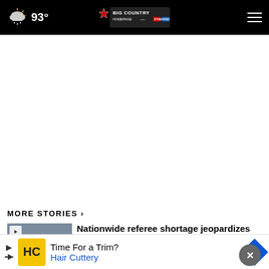93° Big Country Homepage - KTAB KRBC
[Figure (screenshot): Advertisement/blank white area where ad was loading]
MORE STORIES ›
[Figure (photo): News story thumbnail with play button - Nationwide referee shortage jeopardizes Abilene youth sports]
Nationwide referee shortage jeopardizes Abilene youth ...
[Figure (photo): Second news story thumbnail - partial view, story about local topic]
l for
[Figure (infographic): Bottom advertisement banner: Time For a Trim? Hair Cuttery - with HC logo and navigation diamond arrow]